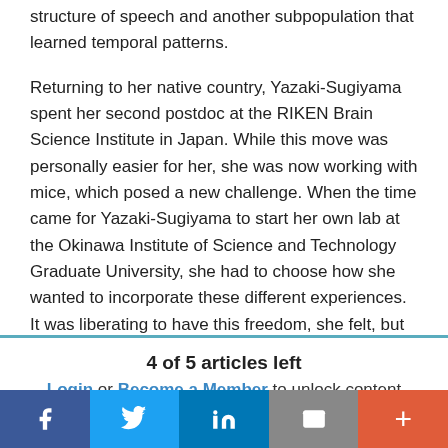structure of speech and another subpopulation that learned temporal patterns.
Returning to her native country, Yazaki-Sugiyama spent her second postdoc at the RIKEN Brain Science Institute in Japan. While this move was personally easier for her, she was now working with mice, which posed a new challenge. When the time came for Yazaki-Sugiyama to start her own lab at the Okinawa Institute of Science and Technology Graduate University, she had to choose how she wanted to incorporate these different experiences. It was liberating to have this freedom, she felt, but
4 of 5 articles left
Login or Become a Member to unlock content
f | Twitter | in | mail | +